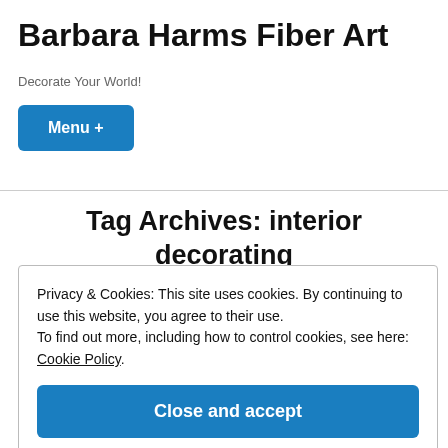Barbara Harms Fiber Art
Decorate Your World!
Menu +
Tag Archives: interior decorating
Privacy & Cookies: This site uses cookies. By continuing to use this website, you agree to their use.
To find out more, including how to control cookies, see here: Cookie Policy
Close and accept
[Figure (photo): Partial view of a colorful artwork image in blue and green tones at the bottom of the page]